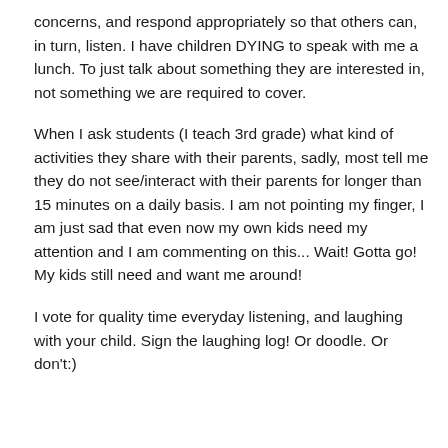concerns, and respond appropriately so that others can, in turn, listen. I have children DYING to speak with me a lunch. To just talk about something they are interested in, not something we are required to cover.
When I ask students (I teach 3rd grade) what kind of activities they share with their parents, sadly, most tell me they do not see/interact with their parents for longer than 15 minutes on a daily basis. I am not pointing my finger, I am just sad that even now my own kids need my attention and I am commenting on this... Wait! Gotta go! My kids still need and want me around!
I vote for quality time everyday listening, and laughing with your child. Sign the laughing log! Or doodle. Or don't:)